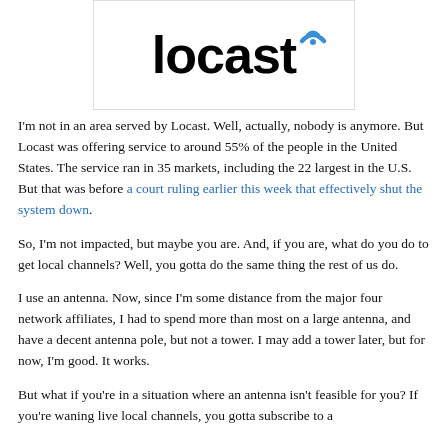[Figure (logo): Locast logo with black bold text 'locast' and a blue WiFi/RSS icon to the upper right]
I'm not in an area served by Locast. Well, actually, nobody is anymore. But Locast was offering service to around 55% of the people in the United States. The service ran in 35 markets, including the 22 largest in the U.S. But that was before a court ruling earlier this week that effectively shut the system down.
So, I'm not impacted, but maybe you are. And, if you are, what do you do to get local channels? Well, you gotta do the same thing the rest of us do.
I use an antenna. Now, since I'm some distance from the major four network affiliates, I had to spend more than most on a large antenna, and have a decent antenna pole, but not a tower. I may add a tower later, but for now, I'm good. It works.
But what if you're in a situation where an antenna isn't feasible for you? If you're waning live local channels, you gotta subscribe to a